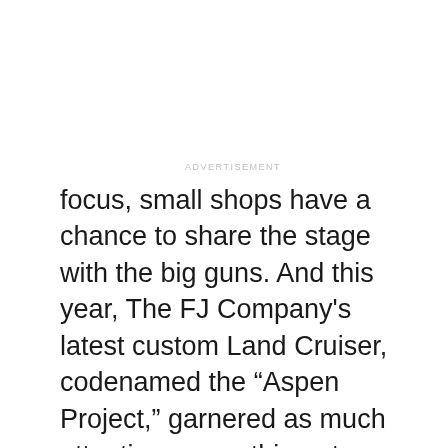ADVERTISEMENT
focus, small shops have a chance to share the stage with the big guns. And this year, The FJ Company's latest custom Land Cruiser, codenamed the “Aspen Project,” garnered as much attention as anything at Toyota's official booth.
We wrote about The FJ Company's last custom build, an olive truck built to compete in this year's Copperstate Overland rally, a four day